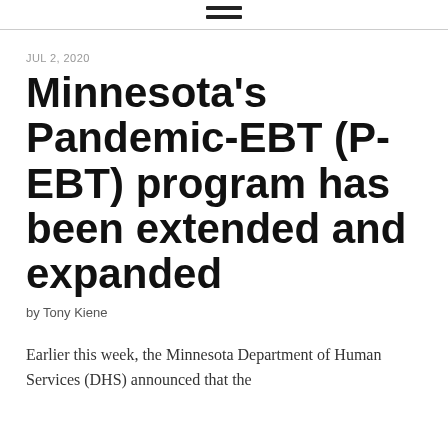≡
JUL 2, 2020
Minnesota's Pandemic-EBT (P-EBT) program has been extended and expanded
by Tony Kiene
Earlier this week, the Minnesota Department of Human Services (DHS) announced that the